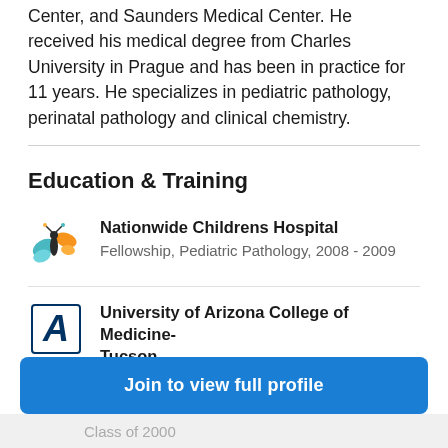Center, and Saunders Medical Center. He received his medical degree from Charles University in Prague and has been in practice for 11 years. He specializes in pediatric pathology, perinatal pathology and clinical chemistry.
Education & Training
Nationwide Childrens Hospital — Fellowship, Pediatric Pathology, 2008 - 2009
University of Arizona College of Medicine-Tucson — Residency, Pathology-Anatomic and Clinical, 2004 - 2008
Join to view full profile
Class of 2000